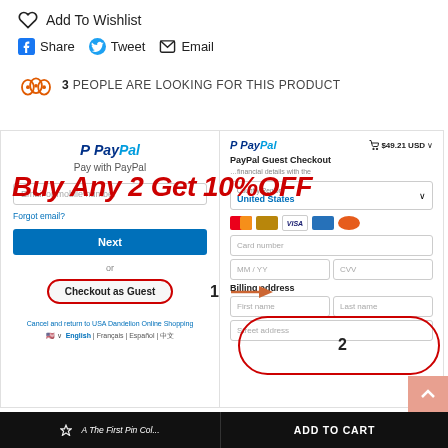Add To Wishlist
Share  Tweet  Email
3 PEOPLE ARE LOOKING FOR THIS PRODUCT
[Figure (screenshot): Screenshot of PayPal checkout flow showing two panels: left panel with PayPal logo, email input, Next button and Checkout as Guest option labeled 1; right panel showing PayPal Guest Checkout with $49.21 USD cart, country/region United States, card fields, billing address with First name, Last name, Street address fields. A red oval highlights the Checkout as Guest button (labeled 1) and an arrow points to the right panel (labeled 2). A red promotional overlay reads Buy Any 2 Get 10%OFF.]
Buy Any 2 Get 10%OFF
ADD TO CART